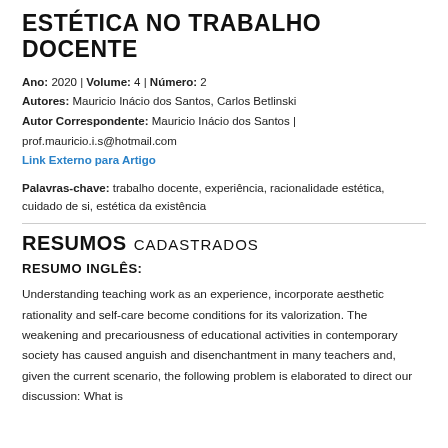ESTÉTICA NO TRABALHO DOCENTE
Ano: 2020 | Volume: 4 | Número: 2
Autores: Mauricio Inácio dos Santos, Carlos Betlinski
Autor Correspondente: Mauricio Inácio dos Santos | prof.mauricio.i.s@hotmail.com
Link Externo para Artigo
Palavras-chave: trabalho docente, experiência, racionalidade estética, cuidado de si, estética da existência
RESUMOS CADASTRADOS
RESUMO INGLÊS:
Understanding teaching work as an experience, incorporate aesthetic rationality and self-care become conditions for its valorization. The weakening and precariousness of educational activities in contemporary society has caused anguish and disenchantment in many teachers and, given the current scenario, the following problem is elaborated to direct our discussion: What is